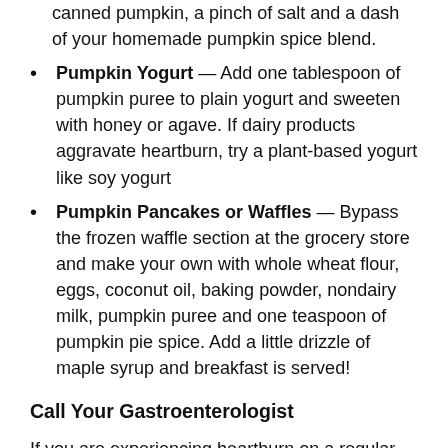canned pumpkin, a pinch of salt and a dash of your homemade pumpkin spice blend.
Pumpkin Yogurt — Add one tablespoon of pumpkin puree to plain yogurt and sweeten with honey or agave. If dairy products aggravate heartburn, try a plant-based yogurt like soy yogurt
Pumpkin Pancakes or Waffles — Bypass the frozen waffle section at the grocery store and make your own with whole wheat flour, eggs, coconut oil, baking powder, nondairy milk, pumpkin puree and one teaspoon of pumpkin pie spice. Add a little drizzle of maple syrup and breakfast is served!
Call Your Gastroenterologist
If you are experiencing heartburn on a regular